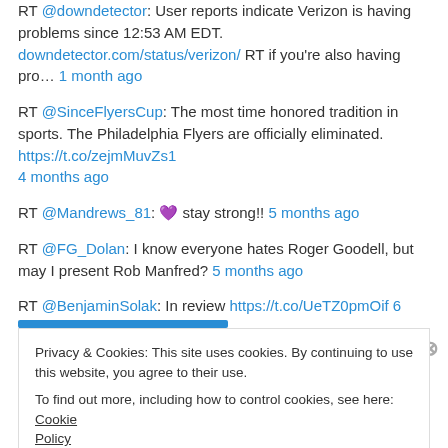RT @downdetector: User reports indicate Verizon is having problems since 12:53 AM EDT. downdetector.com/status/verizon/ RT if you're also having pro… 1 month ago
RT @SinceFlyersCup: The most time honored tradition in sports. The Philadelphia Flyers are officially eliminated. https://t.co/zejmMuvZs1 4 months ago
RT @Mandrews_81: 💜 stay strong!! 5 months ago
RT @FG_Dolan: I know everyone hates Roger Goodell, but may I present Rob Manfred? 5 months ago
RT @BenjaminSolak: In review https://t.co/UeTZ0pmOif 6 months ago
Privacy & Cookies: This site uses cookies. By continuing to use this website, you agree to their use. To find out more, including how to control cookies, see here: Cookie Policy